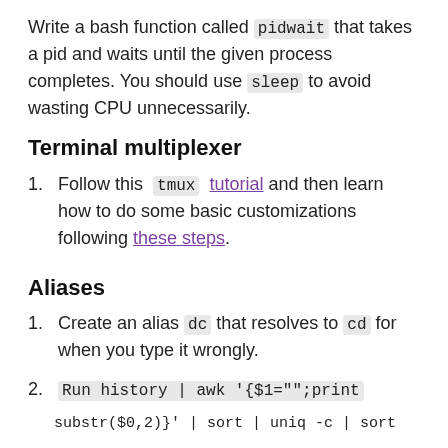Write a bash function called pidwait that takes a pid and waits until the given process completes. You should use sleep to avoid wasting CPU unnecessarily.
Terminal multiplexer
Follow this tmux tutorial and then learn how to do some basic customizations following these steps.
Aliases
Create an alias dc that resolves to cd for when you type it wrongly.
Run history | awk '{$1="";print substr($0,2)}' | sort | uniq -c | sort